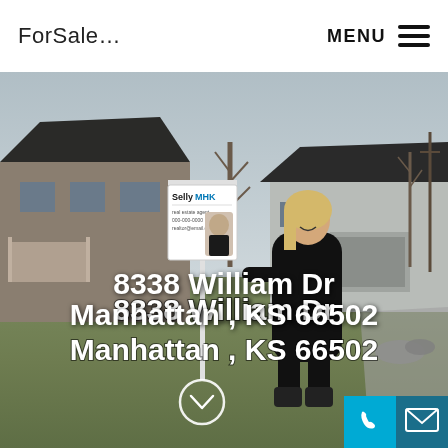ForSale…
MENU
[Figure (photo): Real estate listing photo showing a woman smiling next to a 'SellyMHK' for-sale sign in front of residential homes in Manhattan, KS. Overcast winter sky, dormant grass lawn.]
8338 William Dr
Manhattan , KS 66502